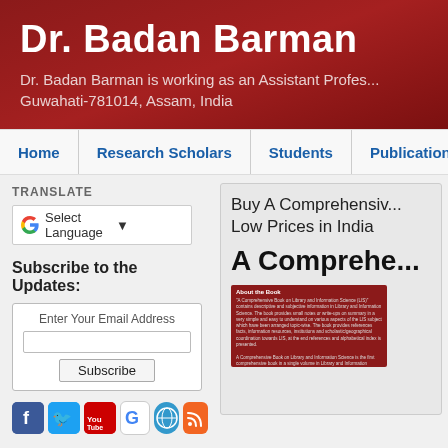Dr. Badan Barman
Dr. Badan Barman is working as an Assistant Professor... Guwahati-781014, Assam, India
Home | Research Scholars | Students | Publications
TRANSLATE
Select Language
Subscribe to the Updates:
Enter Your Email Address
Subscribe
[Figure (screenshot): Social media icons: Facebook, Twitter, YouTube, Google Scholar, globe/website, RSS feed]
Buy A Comprehensive... Low Prices in India
A Comprehe...
[Figure (photo): Book cover image with dark red background and text about Library and Information Science]